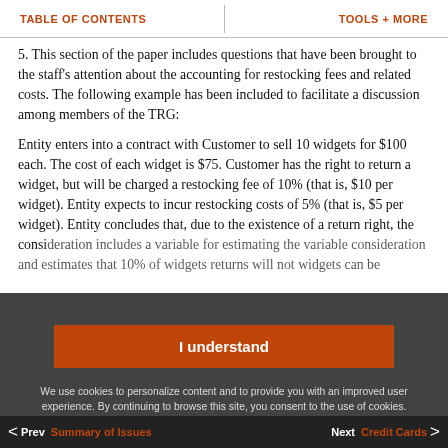TABLE OF CONTENTS    TOOLS + MORE
5. This section of the paper includes questions that have been brought to the staff's attention about the accounting for restocking fees and related costs. The following example has been included to facilitate a discussion among members of the TRG:
Entity enters into a contract with Customer to sell 10 widgets for $100 each. The cost of each widget is $75. Customer has the right to return a widget, but will be charged a restocking fee of 10% (that is, $10 per widget). Entity expects to incur restocking costs of 5% (that is, $5 per widget). Entity concludes that, due to the existence of a return right, the consideration includes a variable consideration. Entity uses... for estimating the variable consideration and estimates that 10% of widgets... returns will not... widgets can be...
I understand

We use cookies to personalize content and to provide you with an improved user experience. By continuing to browse this site, you consent to the use of cookies. Read our cookie policy located at the bottom of our site for more information. If you have any questions pertaining to any of the cookies, please contact us us_viewpoint.support@pwc.com.
< Prev  Summary of Issues    Next  Credit Cards >